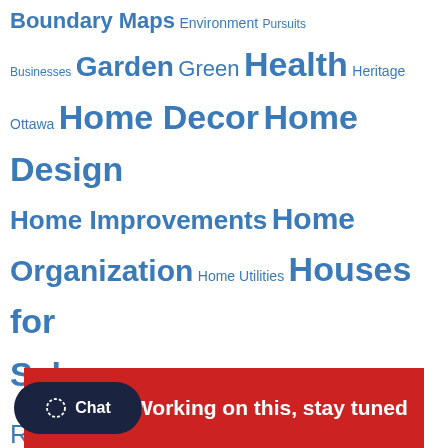Boundary Maps Environment Pursuits Businesses Garden Green Health Heritage Ottawa Home Decor Home Design Home Improvements Home Organization Home Utilities Houses for Sale Kitchens Life Hacks Listings Mortgage Rates Newsletter Open House Ottawa Outdoor Pets Real Estate News Realtor Rental Safety Sandy Hill Selling Small Space Smart Home Statistics Tourism
- Working on this, stay tuned
Chat